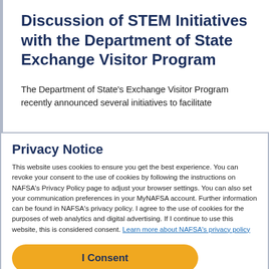Discussion of STEM Initiatives with the Department of State Exchange Visitor Program
The Department of State's Exchange Visitor Program recently announced several initiatives to facilitate
Privacy Notice
This website uses cookies to ensure you get the best experience. You can revoke your consent to the use of cookies by following the instructions on NAFSA's Privacy Policy page to adjust your browser settings. You can also set your communication preferences in your MyNAFSA account. Further information can be found in NAFSA's privacy policy. I agree to the use of cookies for the purposes of web analytics and digital advertising. If I continue to use this website, this is considered consent. Learn more about NAFSA's privacy policy
I Consent